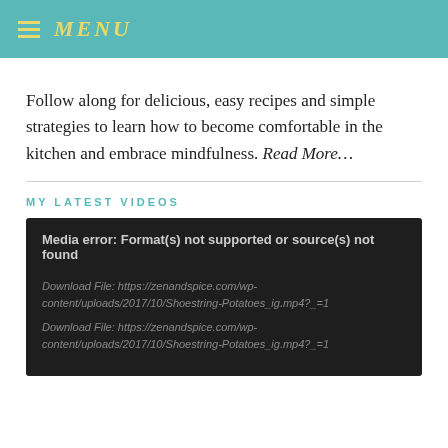MENU
Follow along for delicious, easy recipes and simple strategies to learn how to become comfortable in the kitchen and embrace mindfulness. Read More…
MY LATEST VIDEOS
[Figure (screenshot): Dark video player box showing media error: Format(s) not supported or source(s) not found, with two download file links to zenandspice.com/wp-content/uploads/2017/10/Shoestring-Potatoes_ig.mp4?_=1]